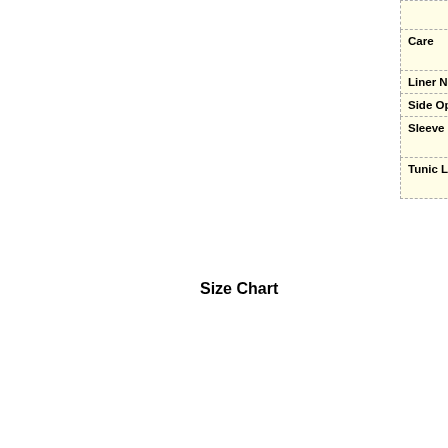|  |  |
| --- | --- |
| Care | Machine...
Line Dry... |
| Liner Needed? | NO |
| Side Open? | NO |
| Sleeve Length | Full Slee...
20 inche... |
| Tunic Length | Regular
29 inche... |
Size Chart
| WALMART GARMENT BUST Siz... |
| --- |
| 38" / 10 / M | 38" |
| 40" / 12 / L | 40" |
| 42" / 16 / XL | 42" |
| 44" / 18 / XL | 44" |
| 46" / 2X / 20W | 46" |
| 48" / 3X / 22W | 48" |
| 50" / 3X / 24W | 50" |